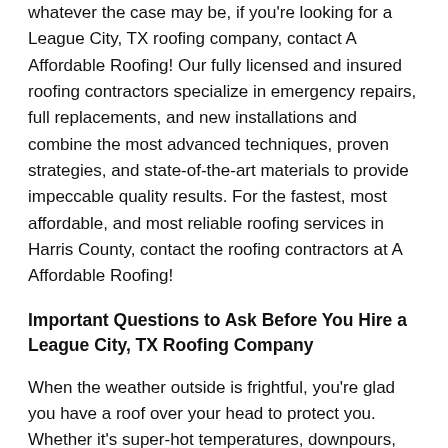whatever the case may be, if you're looking for a League City, TX roofing company, contact A Affordable Roofing! Our fully licensed and insured roofing contractors specialize in emergency repairs, full replacements, and new installations and combine the most advanced techniques, proven strategies, and state-of-the-art materials to provide impeccable quality results. For the fastest, most affordable, and most reliable roofing services in Harris County, contact the roofing contractors at A Affordable Roofing!
Important Questions to Ask Before You Hire a League City, TX Roofing Company
When the weather outside is frightful, you're glad you have a roof over your head to protect you. Whether it's super-hot temperatures, downpours, high winds, or even the occasional frost, the roof protects your Harris County home and everything underneath it – including your belongings and your loved ones – from the elements.